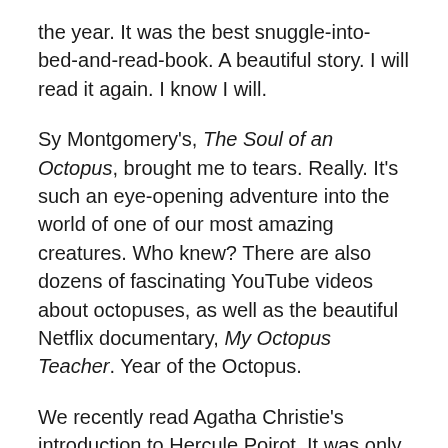the year. It was the best snuggle-into-bed-and-read-book. A beautiful story. I will read it again. I know I will.
Sy Montgomery's, The Soul of an Octopus, brought me to tears. Really. It's such an eye-opening adventure into the world of one of our most amazing creatures. Who knew? There are also dozens of fascinating YouTube videos about octopuses, as well as the beautiful Netflix documentary, My Octopus Teacher. Year of the Octopus.
We recently read Agatha Christie's introduction to Hercule Poirot. It was only the second Christie mystery that I've ever read (Murder on the Orient Express being the other) and it was pure delight.
The Great Believers is our current pick. I'll finish it in January, but about a quarter of the way through, highly recommended it. The whole story you want to follow along